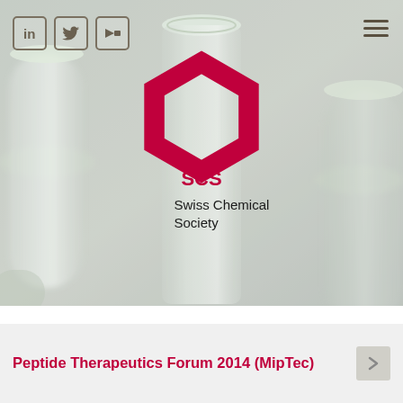[Figure (screenshot): Hero background image of laboratory glassware (test tubes/flasks) in soft focus, with grey-green tones. Swiss Chemical Society (SCS) logo and wordmark overlaid in center. Social media icons (LinkedIn, Twitter, share) in top left. Hamburger menu in top right.]
Peptide Therapeutics Forum 2014 (MipTec)